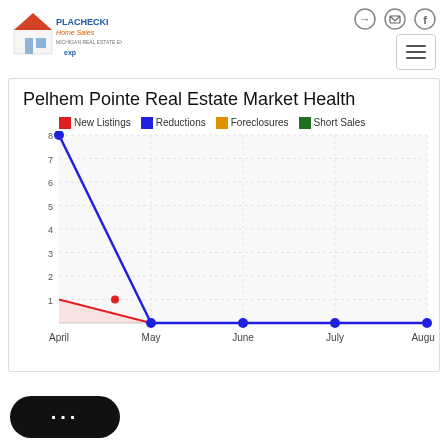[Figure (logo): Plachecki Home Sales logo with house icon and eXp branding]
Pelhem Pointe Real Estate Market Health
[Figure (line-chart): Pelhem Pointe Real Estate Market Health]